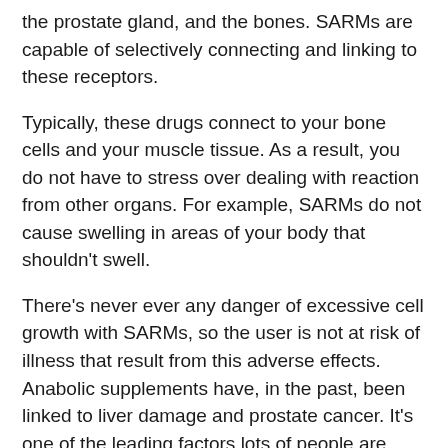the prostate gland, and the bones. SARMs are capable of selectively connecting and linking to these receptors.
Typically, these drugs connect to your bone cells and your muscle tissue. As a result, you do not have to stress over dealing with reaction from other organs. For example, SARMs do not cause swelling in areas of your body that shouldn't swell.
There's never ever any danger of excessive cell growth with SARMs, so the user is not at risk of illness that result from this adverse effects. Anabolic supplements have, in the past, been linked to liver damage and prostate cancer. It's one of the leading factors lots of people are moving to SARMs.
A lot of ranges of SARMs mimic the method your testosterone works within the body. They fool your body into doing this without putting you in danger. Once they link themselves to your androgen receptors, these drugs increase protein synthesis and increase your overall strength and